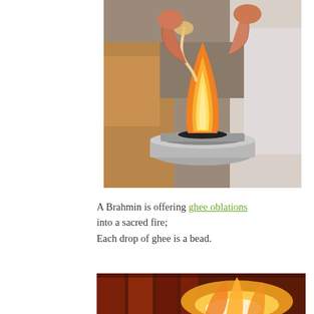[Figure (photo): A Brahmin performing a fire ritual, pouring ghee oblations into a silver bowl with flames rising up. Two people's hands are visible above the bowl.]
A Brahmin is offering ghee oblations into a sacred fire;
Each drop of ghee is a bead.
[Figure (photo): A large ceremonial fire, partially visible at the bottom of the page, glowing orange and yellow.]